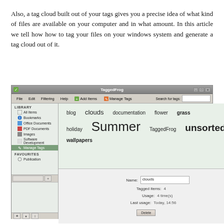Also, a tag cloud built out of your tags gives you a precise idea of what kind of files are available on your computer and in what amount. In this article we tell how how to tag your files on your windows system and generate a tag cloud out of it.
[Figure (screenshot): Screenshot of TaggedFrog application window showing a tag cloud with tags: blog, clouds, documentation, flower, grass, holiday, Summer, TaggedFrog, unsorted, wallpapers. Below the tag cloud is a detail panel showing Name: clouds, Tagged items: 4, Usage: 4 time(s), Last usage: Today, 14:56, and a Delete button. The left sidebar shows a library tree with All Items, Bookmarks, Office Documents, PDF Documents, Images, Software Development, Manage Tags, and Favourites with Publication.]